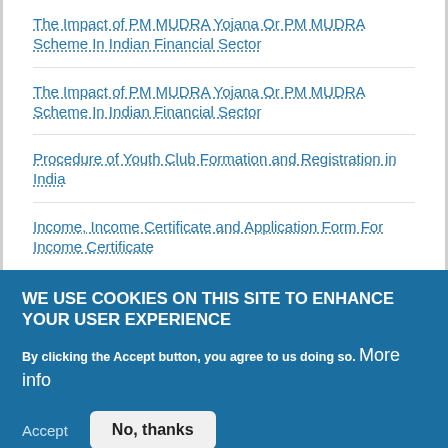The Impact of PM MUDRA Yojana Or PM MUDRA Scheme In Indian Financial Sector
The Impact of PM MUDRA Yojana Or PM MUDRA Scheme In Indian Financial Sector
Procedure of Youth Club Formation and Registration in India
Income, Income Certificate and Application Form For Income Certificate
WE USE COOKIES ON THIS SITE TO ENHANCE YOUR USER EXPERIENCE
By clicking the Accept button, you agree to us doing so. More info
Accept   No, thanks